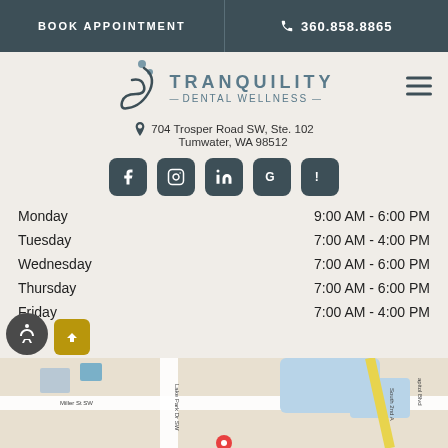BOOK APPOINTMENT | 360.858.8865
[Figure (logo): Tranquility Dental Wellness logo with stylized swirl and dot design]
704 Trosper Road SW, Ste. 102
Tumwater, WA 98512
[Figure (infographic): Social media icons: Facebook, Instagram, LinkedIn, Google, Yelp]
| Day | Hours |
| --- | --- |
| Monday | 9:00 AM - 6:00 PM |
| Tuesday | 7:00 AM - 4:00 PM |
| Wednesday | 7:00 AM - 6:00 PM |
| Thursday | 7:00 AM - 6:00 PM |
| Friday | 7:00 AM - 4:00 PM |
[Figure (map): Google Maps view showing Miller St SW area near Lake Park Dr SW, Tumwater WA, with South 2nd Ave and Capitol Blvd visible]